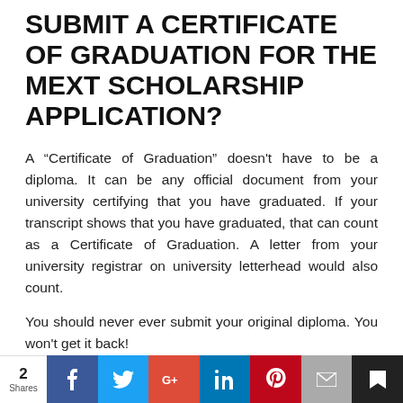SUBMIT A CERTIFICATE OF GRADUATION FOR THE MEXT SCHOLARSHIP APPLICATION?
A “Certificate of Graduation” doesn't have to be a diploma. It can be any official document from your university certifying that you have graduated. If your transcript shows that you have graduated, that can count as a Certificate of Graduation. A letter from your university registrar on university letterhead would also count.
You should never ever submit your original diploma. You won't get it back!
DO YOU HAVE QUESTIONS ABOUT THE UNIVERSITY
2 Shares | Facebook | Twitter | Google+ | LinkedIn | Pinterest | Email | Bookmark